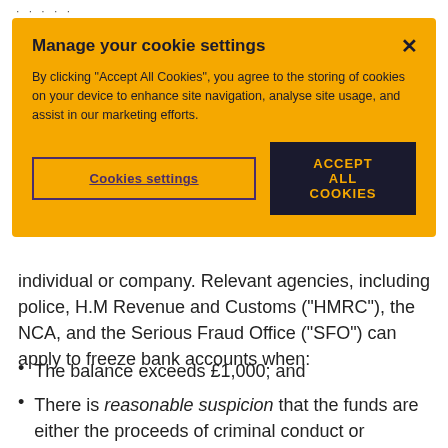[Figure (screenshot): Cookie consent modal with yellow background. Title: 'Manage your cookie settings'. Body text about accepting cookies. Two buttons: 'Cookies settings' (outlined) and 'ACCEPT ALL COOKIES' (dark filled). Close X in top right.]
individual or company. Relevant agencies, including police, H.M Revenue and Customs ("HMRC"), the NCA, and the Serious Fraud Office ("SFO") can apply to freeze bank accounts when:
The balance exceeds £1,000; and
There is reasonable suspicion that the funds are either the proceeds of criminal conduct or intended for use in unlawful conduct.